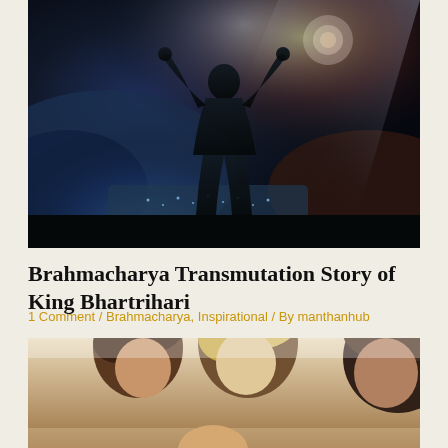[Figure (photo): Silhouette of a person with arms raised triumphantly against a dramatic cosmic background with city lights below and a bright light beam, double-exposure style image]
Brahmacharya Transmutation Story of King Bhartrihari
1 Comment / Brahmacharya, Inspirational / By manthanhub
[Figure (photo): Group of people (two women and a man) looking downward together, in a study or discussion setting, partial crop showing heads and shoulders]